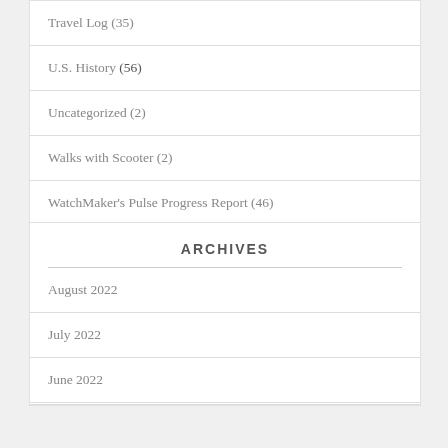Travel Log (35)
U.S. History (56)
Uncategorized (2)
Walks with Scooter (2)
WatchMaker's Pulse Progress Report (46)
ARCHIVES
August 2022
July 2022
June 2022